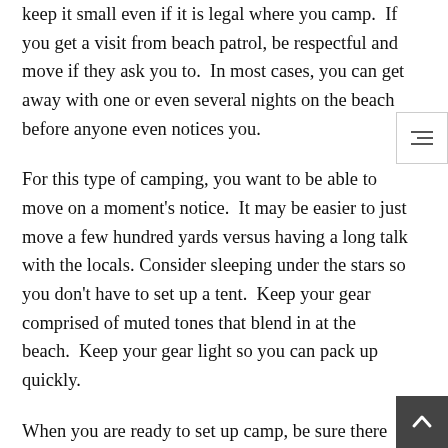keep it small even if it is legal where you camp. If you get a visit from beach patrol, be respectful and move if they ask you to. In most cases, you can get away with one or even several nights on the beach before anyone even notices you.
For this type of camping, you want to be able to move on a moment's notice. It may be easier to just move a few hundred yards versus having a long talk with the locals. Consider sleeping under the stars so you don't have to set up a tent. Keep your gear comprised of muted tones that blend in at the beach. Keep your gear light so you can pack up quickly.
When you are ready to set up camp, be sure there are no signs of other people in your